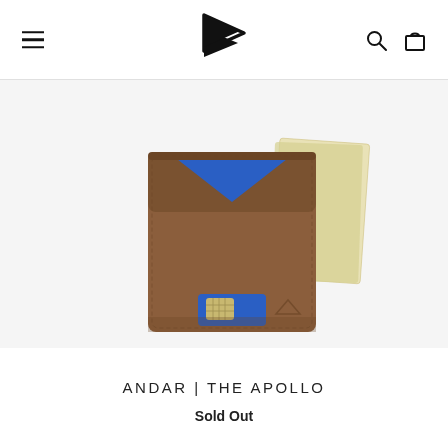ANDAR navigation header with hamburger menu, logo, search and cart icons
[Figure (photo): Brown leather bifold wallet (The Apollo by Andar) shown open, revealing a blue interior lining, a credit card with gold chip visible in a front pocket, and yellow/cream bills fanned out from the right side. The wallet is photographed from above on a white background.]
ANDAR | THE APOLLO
Sold Out